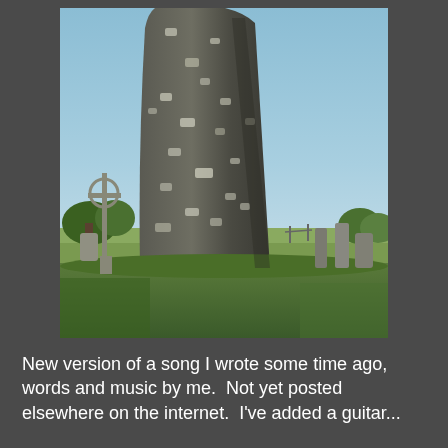[Figure (photo): Photograph of a large ancient Irish round tower made of rough stone masonry, situated in a cemetery with Celtic crosses and gravestones visible in the foreground. Blue clear sky in the background, green grass and trees surrounding the base of the tower.]
New version of a song I wrote some time ago, words and music by me.  Not yet posted elsewhere on the internet.  I've added a guitar...